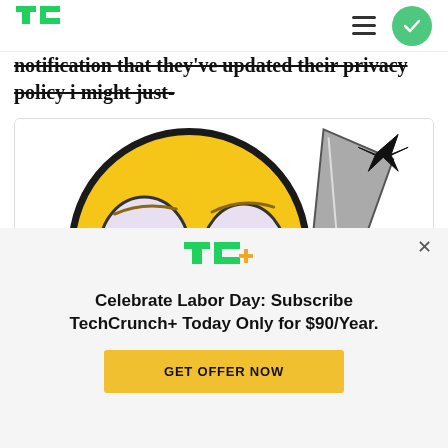TechCrunch
notification that they've updated their privacy policy i might just-
[Figure (illustration): Cartoon emoji face with wide eyes holding a knife — internet meme image]
[Figure (infographic): TC+ promotional modal overlay with TechCrunch+ logo, headline and CTA button]
Celebrate Labor Day: Subscribe TechCrunch+ Today Only for $90/Year.
GET OFFER NOW